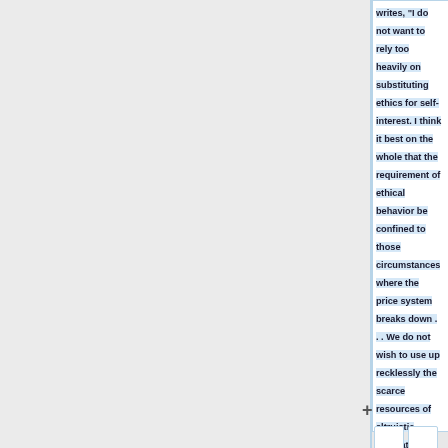writes, "I do not want to rely too heavily on substituting ethics for self-interest. I think it best on the whole that the requirement of ethical behavior be confined to those circumstances where the price system breaks down . . . We do not wish to use up recklessly the scarce resources of altruistic motivation."}}